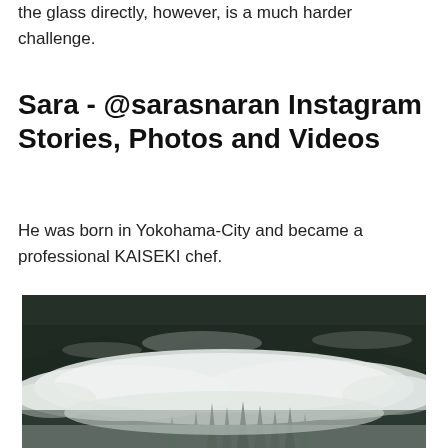the glass directly, however, is a much harder challenge.
Sara - @sarasnaran Instagram Stories, Photos and Videos
He was born in Yokohama-City and became a professional KAISEKI chef.
[Figure (photo): Aerial landscape photo showing dense evergreen forest shrouded in thick white fog/mist, with dark rocky mountain terrain in the background. Tree tops are barely visible through the fog at the bottom of the image.]